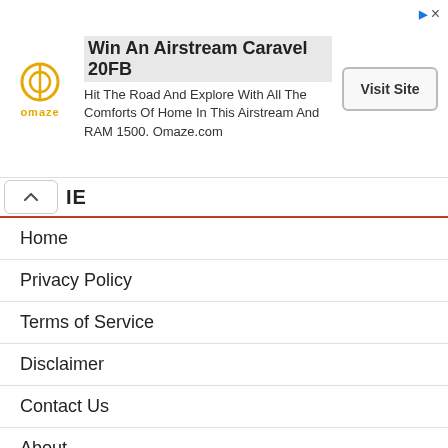[Figure (other): Omaze advertisement banner: Win An Airstream Caravel 20FB. Hit The Road And Explore With All The Comforts Of Home In This Airstream And RAM 1500. Omaze.com. Visit Site button.]
Home
Privacy Policy
Terms of Service
Disclaimer
Contact Us
About
Sitemap
SEARCH META TAGS
AINA E QISMAT
ALL CHINA RECEIVER SOFTWARE